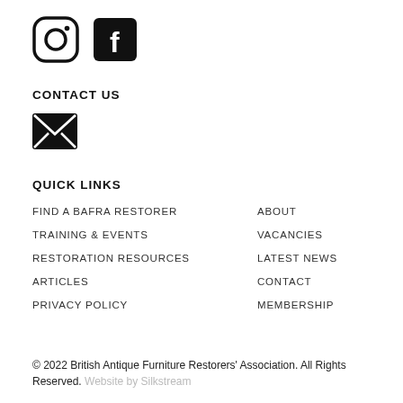[Figure (logo): Instagram and Facebook social media icons (black outline style)]
CONTACT US
[Figure (illustration): Email/envelope icon (black filled square with white envelope outline)]
QUICK LINKS
FIND A BAFRA RESTORER
ABOUT
TRAINING & EVENTS
VACANCIES
RESTORATION RESOURCES
LATEST NEWS
ARTICLES
CONTACT
PRIVACY POLICY
MEMBERSHIP
© 2022 British Antique Furniture Restorers' Association. All Rights Reserved. Website by Silkstream